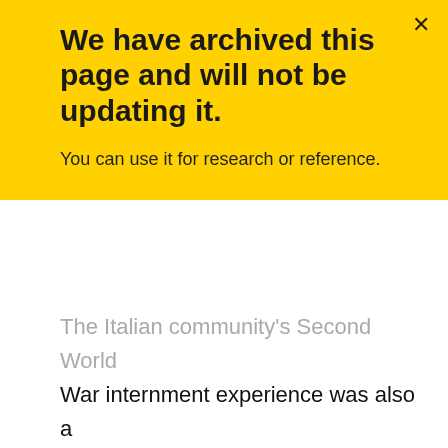We have archived this page and will not be updating it.
You can use it for research or reference.
The Italian community's Second World War internment experience was also a difficult piece to work on, because proposals of redress had begun under the Mulroney government, circa 1989 and 1990, but not entirely completed. And there were different views. My